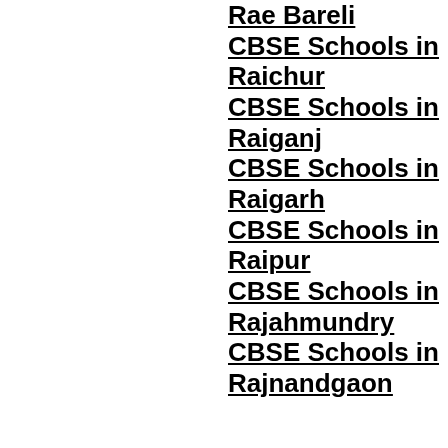Rae Bareli
CBSE Schools in Raichur
CBSE Schools in Raiganj
CBSE Schools in Raigarh
CBSE Schools in Raipur
CBSE Schools in Rajahmundry
CBSE Schools in Rajnandgaon